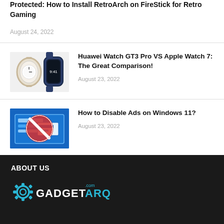Protected: How to Install RetroArch on FireStick for Retro Gaming
August 24, 2022
[Figure (photo): Two smartwatches side by side: Huawei Watch GT3 Pro and Apple Watch 7]
Huawei Watch GT3 Pro VS Apple Watch 7: The Great Comparison!
August 23, 2022
[Figure (illustration): Blue computer screen with a red no/prohibited symbol (circle with diagonal line) overlaid, representing disabling ads]
How to Disable Ads on Windows 11?
August 23, 2022
ABOUT US
[Figure (logo): GadgetARQ.com logo — gear icon with text GADGETARQ and .com]